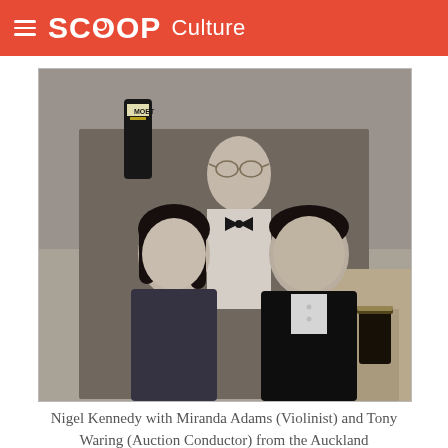SCOOP Culture
[Figure (photo): Black and white photograph of three people posing together indoors. A woman with dark hair in a dark jacket is on the left smiling. A man in a black bow tie stands behind. A man with short dark hair in a black velvet jacket stands on the right smiling. A Moët champagne bottle is visible in the background, along with a dark beer glass on the right side.]
Nigel Kennedy with Miranda Adams (Violinist) and Tony Waring (Auction Conductor) from the Auckland